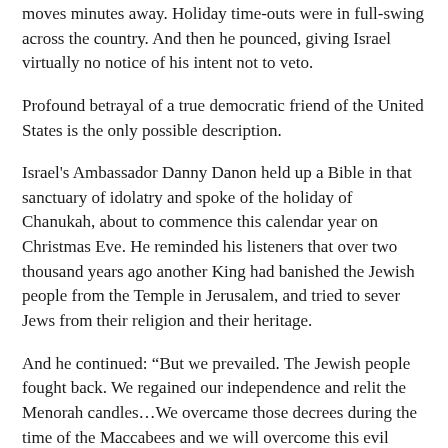moves minutes away. Holiday time-outs were in full-swing across the country. And then he pounced, giving Israel virtually no notice of his intent not to veto.
Profound betrayal of a true democratic friend of the United States is the only possible description.
Israel's Ambassador Danny Danon held up a Bible in that sanctuary of idolatry and spoke of the holiday of Chanukah, about to commence this calendar year on Christmas Eve. He reminded his listeners that over two thousand years ago another King had banished the Jewish people from the Temple in Jerusalem, and tried to sever Jews from their religion and their heritage.
And he continued: “But we prevailed. The Jewish people fought back. We regained our independence and relit the Menorah candles…We overcame those decrees during the time of the Maccabees and we will overcome this evil decree today.”
The Security Council and President Obama leave a trail of